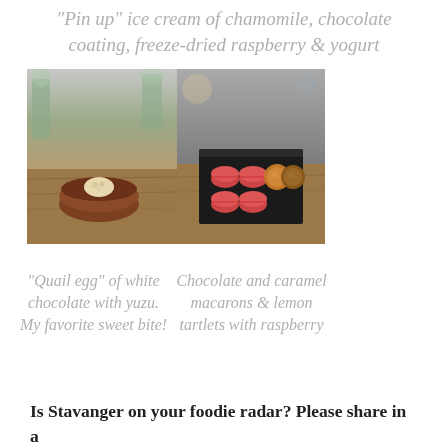“Pin up” ice cream of chamomile, chocolate coating, freeze-dried raspberry & yogurt
[Figure (photo): Two food photos side by side: left shows a rustic bowl with a small round dessert on a wooden table; right shows a dark box containing colorful macarons and round chocolate truffles.]
“Quail egg” of white chocolate with yuzu. My favorite sweet bite!
Chocolate and caramel macarons & lemon tartlets with raspberry
Is Stavanger on your foodie radar? Please share in a